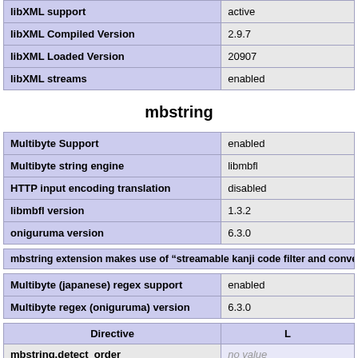|  |  |
| --- | --- |
| libXML support | active |
| libXML Compiled Version | 2.9.7 |
| libXML Loaded Version | 20907 |
| libXML streams | enabled |
mbstring
|  |  |
| --- | --- |
| Multibyte Support | enabled |
| Multibyte string engine | libmbfl |
| HTTP input encoding translation | disabled |
| libmbfl version | 1.3.2 |
| oniguruma version | 6.3.0 |
mbstring extension makes use of "streamable kanji code filter and conver
|  |  |
| --- | --- |
| Multibyte (japanese) regex support | enabled |
| Multibyte regex (oniguruma) version | 6.3.0 |
| Directive | L |
| --- | --- |
| mbstring.detect_order | no value |
| mbstring.encoding_translation | Off |